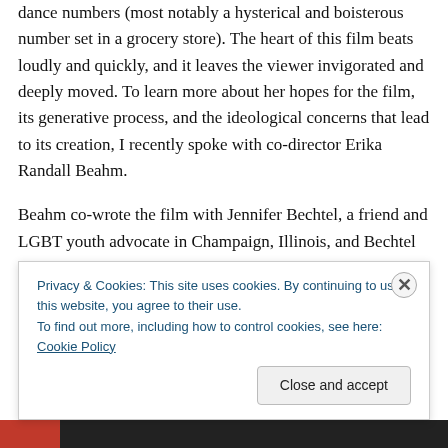dance numbers (most notably a hysterical and boisterous number set in a grocery store). The heart of this film beats loudly and quickly, and it leaves the viewer invigorated and deeply moved. To learn more about her hopes for the film, its generative process, and the ideological concerns that lead to its creation, I recently spoke with co-director Erika Randall Beahm.
Beahm co-wrote the film with Jennifer Bechtel, a friend and LGBT youth advocate in Champaign, Illinois, and Bechtel was struggling to find mainstream films that spoke to...
Privacy & Cookies: This site uses cookies. By continuing to use this website, you agree to their use.
To find out more, including how to control cookies, see here: Cookie Policy